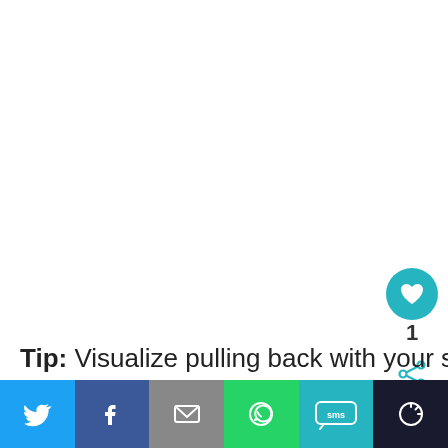[Figure (photo): Large white/blank image area at the top of the page]
Tip: Visualize pulling back with your shoulder blades and getting your elbow in line with your...
[Figure (infographic): Social sharing bottom bar with Twitter, Facebook, Email, WhatsApp, SMS, and More buttons. Also includes a heart/favorite button with count 1, a share icon, and a What's Next Companion Planting Tip... banner.]